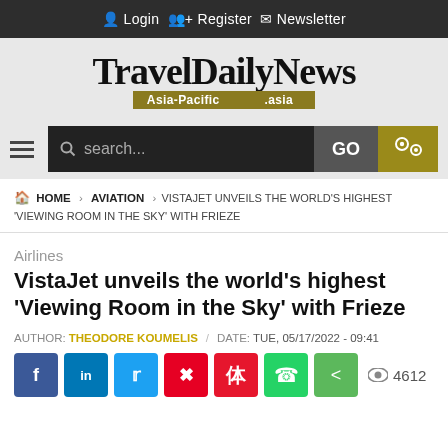Login   Register   Newsletter
[Figure (logo): TravelDailyNews Asia-Pacific .asia logo]
search... GO
HOME > AVIATION > VISTAJET UNVEILS THE WORLD'S HIGHEST 'VIEWING ROOM IN THE SKY' WITH FRIEZE
Airlines
VistaJet unveils the world's highest 'Viewing Room in the Sky' with Frieze
AUTHOR: THEODORE KOUMELIS / DATE: TUE, 05/17/2022 - 09:41
4612 views